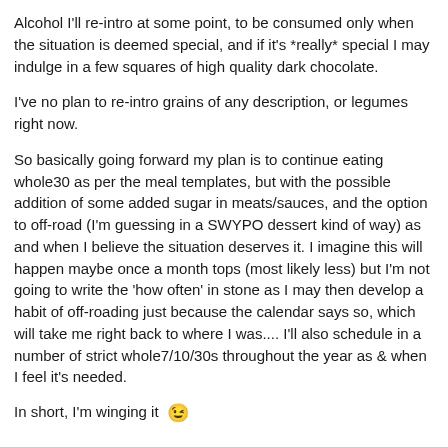Alcohol I'll re-intro at some point, to be consumed only when the situation is deemed special, and if it's *really* special I may indulge in a few squares of high quality dark chocolate.
I've no plan to re-intro grains of any description, or legumes right now.
So basically going forward my plan is to continue eating whole30 as per the meal templates, but with the possible addition of some added sugar in meats/sauces, and the option to off-road (I'm guessing in a SWYPO dessert kind of way) as and when I believe the situation deserves it. I imagine this will happen maybe once a month tops (most likely less) but I'm not going to write the 'how often' in stone as I may then develop a habit of off-roading just because the calendar says so, which will take me right back to where I was.... I'll also schedule in a number of strict whole7/10/30s throughout the year as & when I feel it's needed.
In short, I'm winging it 😉